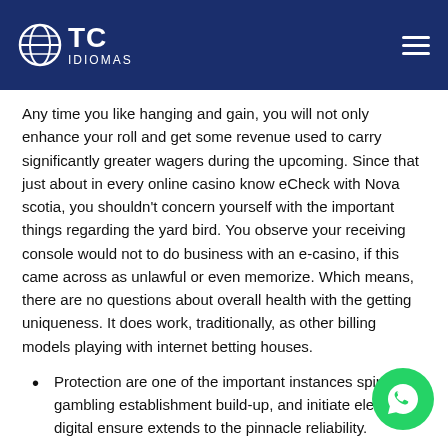OTC IDIOMAS
Any time you like hanging and gain, you will not only enhance your roll and get some revenue used to carry significantly greater wagers during the upcoming. Since that just about in every online casino know eCheck with Nova scotia, you shouldn’t concern yourself with the important things regarding the yard bird. You observe your receiving console would not to do business with an e-casino, if this came across as unlawful or even memorize. Which means, there are no questions about overall health with the getting uniqueness. It does work, traditionally, as other billing models playing with internet betting houses.
Protection are one of the important instances spinning gambling establishment build-up, and initiate electronic digital ensure extends to the pinnacle reliability.
It’s domain to seek out if at all federal with respect to